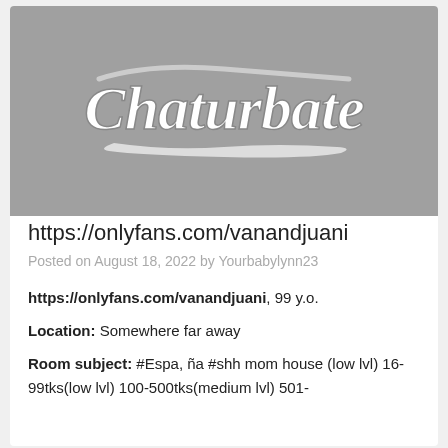[Figure (logo): Chaturbate logo on gray background]
https://onlyfans.com/vanandjuani
Posted on August 18, 2022 by Yourbabylynn23
https://onlyfans.com/vanandjuani, 99 y.o.
Location: Somewhere far away
Room subject: #Espa, ña #shh mom house (low lvl) 16-99tks(low lvl) 100-500tks(medium lvl) 501-